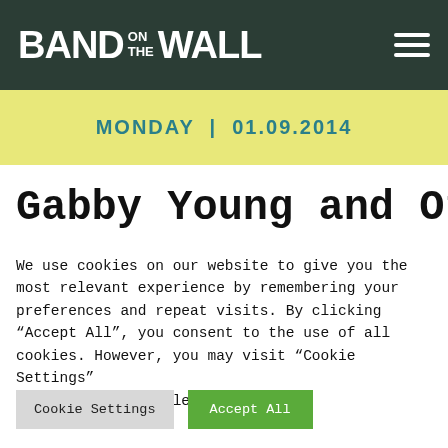BAND ON THE WALL
MONDAY | 01.09.2014
Gabby Young and Other
We use cookies on our website to give you the most relevant experience by remembering your preferences and repeat visits. By clicking "Accept All", you consent to the use of all cookies. However, you may visit "Cookie Settings" to provide controlled consent.
Cookie Settings | Accept All